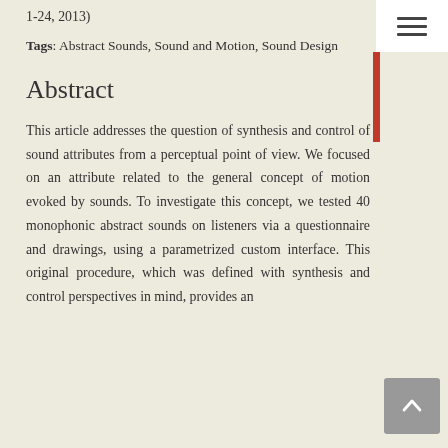1-24, 2013)
Tags: Abstract Sounds, Sound and Motion, Sound Design
Abstract
This article addresses the question of synthesis and control of sound attributes from a perceptual point of view. We focused on an attribute related to the general concept of motion evoked by sounds. To investigate this concept, we tested 40 monophonic abstract sounds on listeners via a questionnaire and drawings, using a parametrized custom interface. This original procedure, which was defined with synthesis and control perspectives in mind, provides an